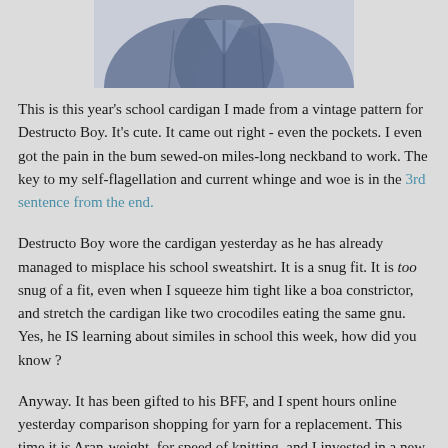[Figure (photo): Partial view of a knitted cardigan, dark blue/grey colored, showing the upper portion cropped at the top of the page]
This is this year's school cardigan I made from a vintage pattern for Destructo Boy. It's cute. It came out right - even the pockets. I even got the pain in the bum sewed-on miles-long neckband to work. The key to my self-flagellation and current whinge and woe is in the 3rd sentence from the end.
Destructo Boy wore the cardigan yesterday as he has already managed to misplace his school sweatshirt. It is a snug fit. It is too snug of a fit, even when I squeeze him tight like a boa constrictor, and stretch the cardigan like two crocodiles eating the same gnu. Yes, he IS learning about similes in school this week, how did you know ?
Anyway. It has been gifted to his BFF, and I spent hours online yesterday comparison shopping for yarn for a replacement. This time it is Aran-weight, for speed of knitting, and I invested in a new pattern too. I went to one of my usual bargain haunts, to find